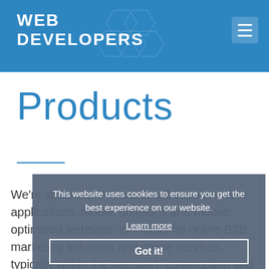WEB DEVELOPERS
Products
We're specialised in creating bespoke online applications, mobile solutions and mobile optimised websites. We focus on online B2B marketing solutions and online services, typically within the transport, construction and academic
This website uses cookies to ensure you get the best experience on our website.
Learn more
Got it!